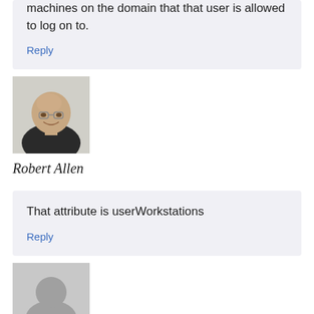machines on the domain that that user is allowed to log on to.
Reply
[Figure (photo): Avatar photo of Robert Allen, a bald man with glasses, wearing a dark jacket, smiling]
Robert Allen
That attribute is userWorkstations
Reply
[Figure (photo): Generic user avatar placeholder silhouette on grey background]
CH